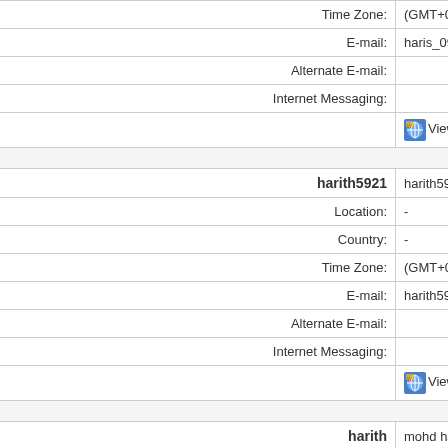| Field | Value |
| --- | --- |
| Time Zone: | (GMT+08:00) K... |
| E-mail: | haris_09 at los... |
| Alternate E-mail: |  |
| Internet Messaging: |  |
|  | View Homepa... |
|  |  |
| harith5921 | harith5921@lo... |
| Location: | - |
| Country: | - |
| Time Zone: | (GMT+08:00) K... |
| E-mail: | harith5921 at l... |
| Alternate E-mail: |  |
| Internet Messaging: |  |
|  | View Homepa... |
|  |  |
| harith | mohd harith |
| Location: | - |
| Country: | - |
| Time Zone: | (GMT+08:00) K... |
| E-mail: | harith at l... |